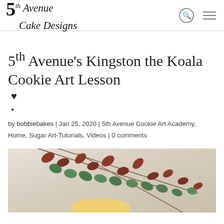5th Avenue Cake Designs
5th Avenue's Kingston the Koala Cookie Art Lesson
by bobbiebakes | Jan 25, 2020 | 5th Avenue Cookie Art Academy, Home, Sugar Art-Tutorials, Videos | 0 comments
[Figure (photo): Photo of eucalyptus branches and decorative foliage arranged on a white surface, with a yellow cake or cookie visible at bottom.]